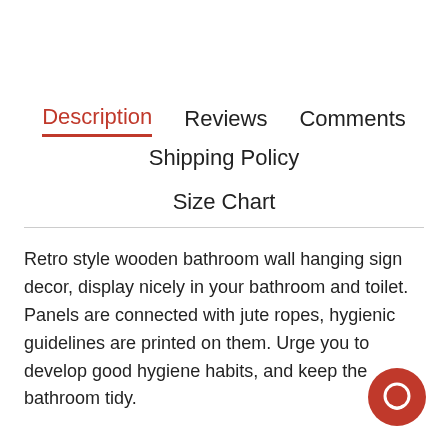Description  Reviews  Comments  Shipping Policy  Size Chart
Retro style wooden bathroom wall hanging sign decor, display nicely in your bathroom and toilet. Panels are connected with jute ropes, hygienic guidelines are printed on them. Urge you to develop good hygiene habits, and keep the bathroom tidy.